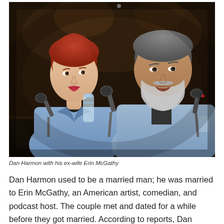[Figure (photo): Dan Harmon and his ex-wife Erin McGathy sitting at a panel table with microphones in front of them. Erin has short red hair and wears a denim jacket; Dan has gray beard and wears a gray shirt.]
Dan Harmon with his ex-wife Erin McGathy
Dan Harmon used to be a married man; he was married to Erin McGathy, an American artist, comedian, and podcast host. The couple met and dated for a while before they got married. According to reports, Dan proposed to Erin in December 2012...